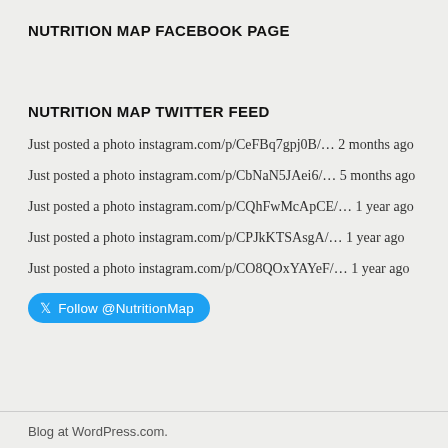NUTRITION MAP FACEBOOK PAGE
NUTRITION MAP TWITTER FEED
Just posted a photo instagram.com/p/CeFBq7gpj0B/… 2 months ago
Just posted a photo instagram.com/p/CbNaN5JAei6/… 5 months ago
Just posted a photo instagram.com/p/CQhFwMcApCE/… 1 year ago
Just posted a photo instagram.com/p/CPJkKTSAsgA/… 1 year ago
Just posted a photo instagram.com/p/CO8QOxYAYeF/… 1 year ago
Follow @NutritionMap
Blog at WordPress.com.